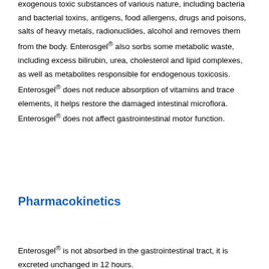exogenous toxic substances of various nature, including bacteria and bacterial toxins, antigens, food allergens, drugs and poisons, salts of heavy metals, radionuclides, alcohol and removes them from the body. Enterosgel® also sorbs some metabolic waste, including excess bilirubin, urea, cholesterol and lipid complexes, as well as metabolites responsible for endogenous toxicosis. Enterosgel® does not reduce absorption of vitamins and trace elements, it helps restore the damaged intestinal microflora. Enterosgel® does not affect gastrointestinal motor function.
Pharmacokinetics
Enterosgel® is not absorbed in the gastrointestinal tract, it is excreted unchanged in 12 hours.